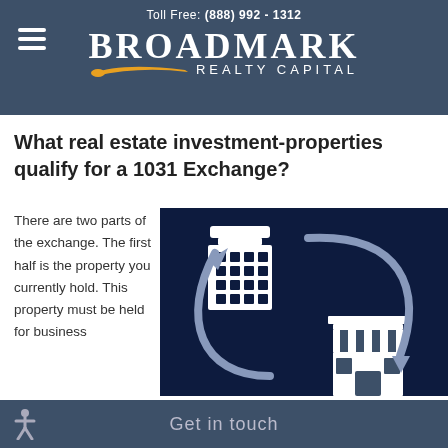Toll Free: (888) 992 - 1312
[Figure (logo): Broadmark Realty Capital logo with hamburger menu icon, gold swoosh, and white text on dark blue background]
What real estate investment-properties qualify for a 1031 Exchange?
There are two parts of the exchange. The first half is the property you currently hold. This property must be held for business
[Figure (infographic): Dark navy blue infographic showing two buildings (office building and retail store) with circular exchange arrows between them, illustrating a 1031 exchange concept]
Get in touch